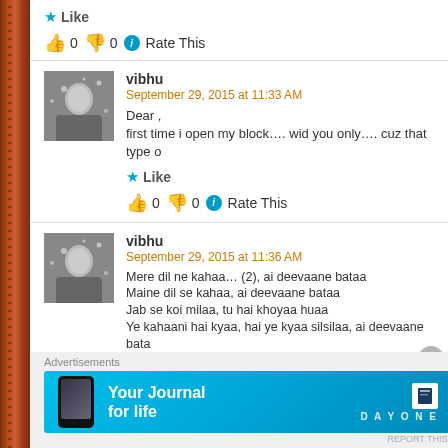★ Like
👍 0 👎 0 ℹ Rate This
vibhu
September 29, 2015 at 11:33 AM
Dear ,
first time i open my block…. wid you only…. cuz that type o
★ Like
👍 0 👎 0 ℹ Rate This
vibhu
September 29, 2015 at 11:36 AM
Mere dil ne kahaa… (2), ai deevaane bataa
Maine dil se kahaa, ai deevaane bataa
Jab se koi milaa, tu hai khoyaa huaa
Ye kahaani hai kyaa, hai ye kyaa silsilaa, ai deevaane bata
Maine dil se kahaa, ai deevaane bataa
Advertisements
Your Journal for life
DAYONE
REPORT THIS AD